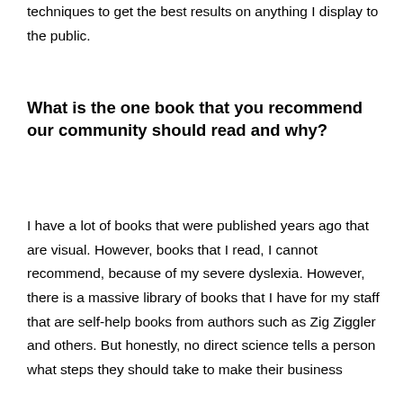Adobe Photoshop or Illustrator. I use various techniques to get the best results on anything I display to the public.
What is the one book that you recommend our community should read and why?
I have a lot of books that were published years ago that are visual. However, books that I read, I cannot recommend, because of my severe dyslexia. However, there is a massive library of books that I have for my staff that are self-help books from authors such as Zig Ziggler and others. But honestly, no direct science tells a person what steps they should take to make their business